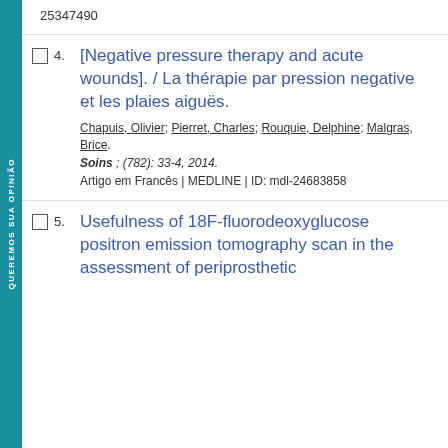25347490
4. [Negative pressure therapy and acute wounds]. / La thérapie par pression negative et les plaies aiguës.
Chapuis, Olivier; Pierret, Charles; Rouquie, Delphine; Malgras, Brice.
Soins ; (782): 33-4, 2014.
Artigo em Francês | MEDLINE | ID: mdl-24683858
5. Usefulness of 18F-fluorodeoxyglucose positron emission tomography scan in the assessment of periprosthetic